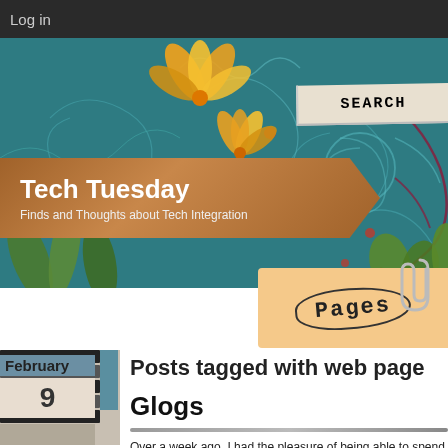Log in
[Figure (illustration): Tech Tuesday blog header banner with teal floral decorative background, orange/yellow flowers, title 'Tech Tuesday' on a brown ribbon banner, subtitle 'Finds and Thoughts about Tech Integration', a 'SEARCH' tab on the upper right, and a 'PAGES' sticky note tab on the lower right with a paperclip.]
Posts tagged with web page
Glogs
Over a week ago, I had the pleasure of being able to spend a day and half of professional development time with four other instructional technology specialists and a dozen teachers (grades K-5) exploring Glogster. This gave way for much needed "play" and discussion about how to integrate